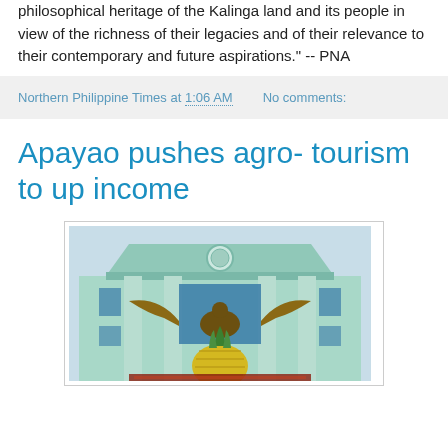philosophical heritage of the Kalinga land and its people in view of the richness of their legacies and of their relevance to their contemporary and future aspirations." -- PNA
Northern Philippine Times at 1:06 AM    No comments:
Apayao pushes agro- tourism to up income
[Figure (photo): A government building with a light blue/green facade, classical pediment with a circular seal, columns, and a large decorative eagle sculpture and pineapple display in front.]